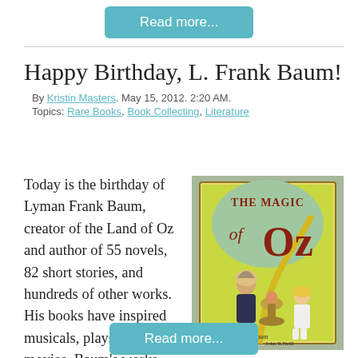Read more...
Happy Birthday, L. Frank Baum!
By Kristin Masters. May 15, 2012. 2:20 AM.
Topics: Rare Books, Book Collecting, Literature
Today is the birthday of Lyman Frank Baum, creator of the Land of Oz and author of 55 novels, 82 short stories, and hundreds of other works. His books have inspired musicals, plays, and movies. Baum’s works also have immense appeal among rare book collectors, particularly those connected with Oz. These works are commonly referred to as
[Figure (photo): Book cover of 'The Magic of Oz' by L. Frank Baum, illustrated by John R. Neill. Shows a colorful illustration of a bearded wizard-like man with a young girl in a white dress and a small figure in a bowl.]
Read more...